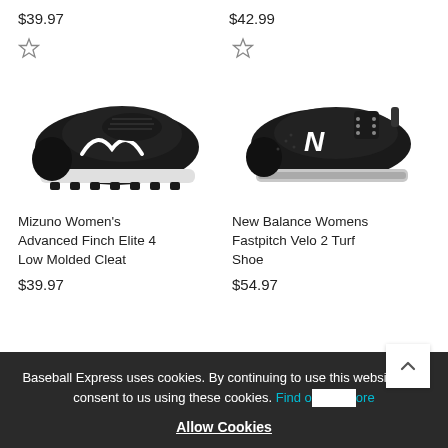$39.97
$42.99
[Figure (photo): Black Mizuno Women's Advanced Finch Elite 4 Low Molded Cleat with white swoosh logo]
[Figure (photo): Black New Balance Womens Fastpitch Velo 2 Turf Shoe with white N logo]
Mizuno Women's Advanced Finch Elite 4 Low Molded Cleat
$39.97
New Balance Womens Fastpitch Velo 2 Turf Shoe
$54.97
Baseball Express uses cookies. By continuing to use this website, you consent to us using these cookies. Find out more
Allow Cookies